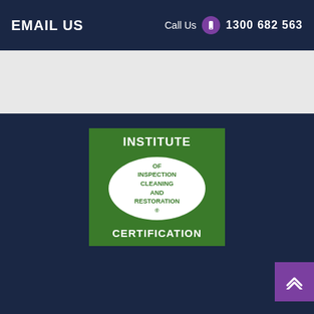EMAIL US   Call Us  1300 682 563
[Figure (logo): Institute of Inspection Cleaning and Restoration Certification logo — green rectangle with white oval in the center containing green text 'OF INSPECTION CLEANING AND RESTORATION ®', with white bold text 'INSTITUTE' at top and 'CERTIFICATION' at bottom]